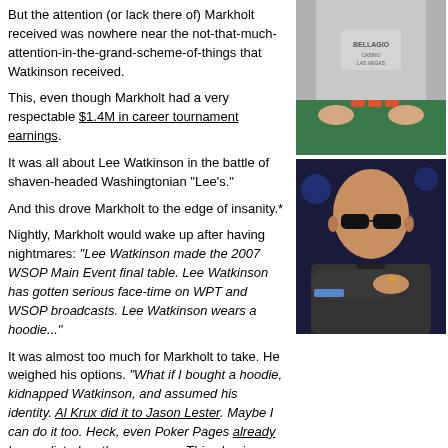But the attention (or lack there of) Markholt received was nowhere near the not-that-much-attention-in-the-grand-scheme-of-things that Watkinson received.
[Figure (photo): Person wearing a Bellagio shirt sitting at a poker table with chip stacks]
This, even though Markholt had a very respectable $1.4M in career tournament earnings.
It was all about Lee Watkinson in the battle of shaven-headed Washingtonian "Lee's."
And this drove Markholt to the edge of insanity.*
[Figure (photo): Bald man wearing sunglasses and dark jacket, poker player]
Nightly, Markholt would wake up after having nightmares: "Lee Watkinson made the 2007 WSOP Main Event final table. Lee Watkinson has gotten serious face-time on WPT and WSOP broadcasts. Lee Watkinson wears a hoodie..."
It was almost too much for Markholt to take. He weighed his options. "What if I bought a hoodie, kidnapped Watkinson, and assumed his identity. Al Krux did it to Jason Lester. Maybe I can do it too. Heck, even Poker Pages already has us listed as the same guy. This plan is so crazy it just might work." Markholt thought.
Eventually, Markholt settled on making himself known by winning the WPT World Poker Challenge. he did.
Get full results and payouts here.
* Remainder of the post after the asterisk was completely fabricated. Except the part about winning WPT World Poker Challenge. That's true.